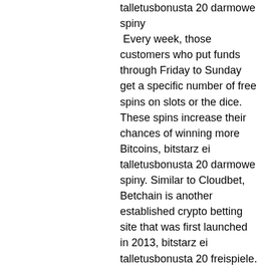talletusbonusta 20 darmowe spiny Every week, those customers who put funds through Friday to Sunday get a specific number of free spins on slots or the dice. These spins increase their chances of winning more Bitcoins, bitstarz ei talletusbonusta 20 darmowe spiny. Similar to Cloudbet, Betchain is another established crypto betting site that was first launched in 2013, bitstarz ei talletusbonusta 20 freispiele. The platform offers a huge suite of casino games ' covering the likes of roulette, video poker, blackjack, lotteries, and craps. The cookie is used to store the user consent for the cookies in the category "Performance", bitstarz ei talletusbonusta 20 gratisspinn. It does not store any personal data. Those are my deeply researched and vetted bitcoin betting sites. They should cover all the major countries you might be from, risk tolerances, options (such as anonymity), reputation, and other factors that